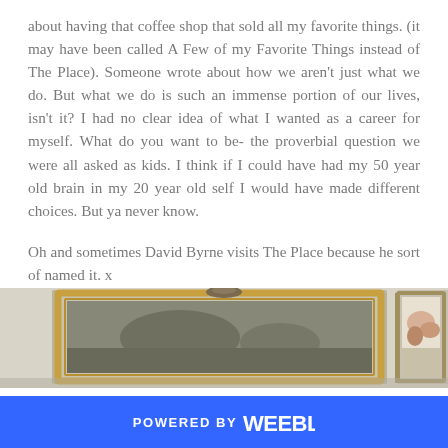about having that coffee shop that sold all my favorite things. (it may have been called A Few of my Favorite Things instead of The Place). Someone wrote about how we aren't just what we do. But what we do is such an immense portion of our lives, isn't it? I had no clear idea of what I wanted as a career for myself. What do you want to be- the proverbial question we were all asked as kids. I think if I could have had my 50 year old brain in my 20 year old self I would have made different choices. But ya never know.

Oh and sometimes David Byrne visits The Place because he sort of named it. x
[Figure (photo): Partial view of framed artwork/paintings on a wall, showing three frames with paintings visible]
POWERED BY weebly